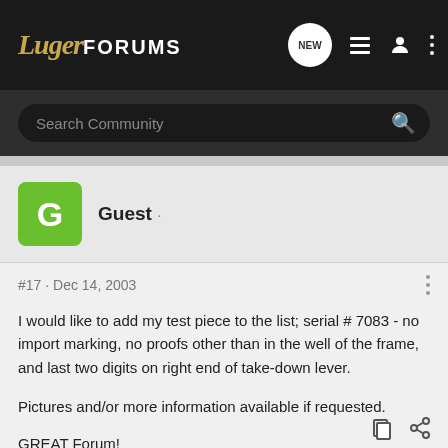LugerFORUMS
Search Community
Guest ·
#17 · Dec 14, 2003
I would like to add my test piece to the list; serial # 7083 - no import marking, no proofs other than in the well of the frame, and last two digits on right end of take-down lever.

Pictures and/or more information available if requested.

GREAT Forum!